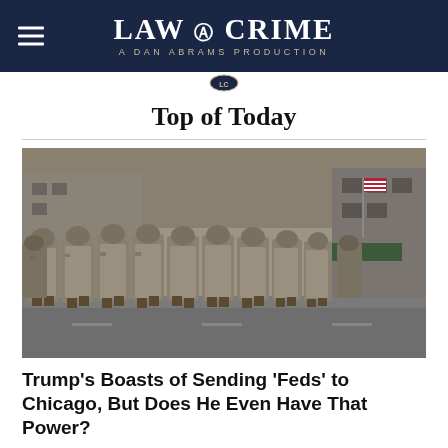LAW & CRIME — A DAN ABRAMS PRODUCTION
Top of Today
[Figure (photo): Rows of soldiers in camouflage uniforms marching down a city street, seen from behind, with buildings and an American flag visible in the background.]
Trump's Boasts of Sending 'Feds' to Chicago, But Does He Even Have That Power?